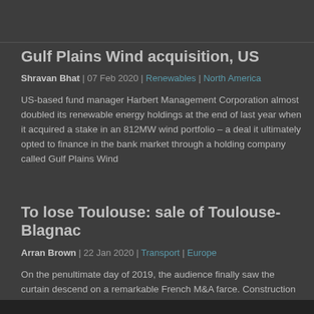Gulf Plains Wind acquisition, US
Shravan Bhat | 07 Feb 2020  | Renewables  | North America
US-based fund manager Harbert Management Corporation almost doubled its renewable energy holdings at the end of last year when it acquired a stake in an 812MW wind portfolio – a deal it ultimately opted to finance in the bank market through a holding company called Gulf Plains Wind
To lose Toulouse: sale of Toulouse-Blagnac
Arran Brown | 22 Jan 2020  | Transport  | Europe
On the penultimate day of 2019, the audience finally saw the curtain descend on a remarkable French M&A farce. Construction company Eiffage closed on the acquisition of a 49.99% stake in Toulouse-Blagnac Airport from Chinese investors Casil Europe